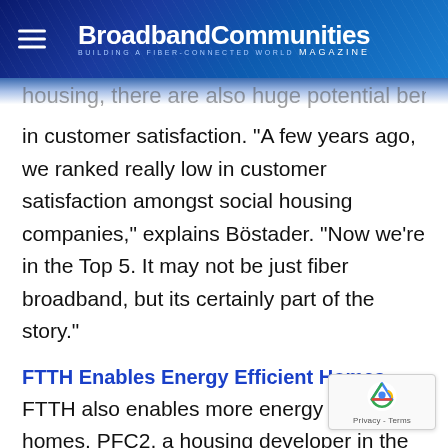BroadbandCommunities MAGAZINE — BUILDING A FIBER-CONNECTED WORLD
housing, there are also huge potential benefits in customer satisfaction. "A few years ago, we ranked really low in customer satisfaction amongst social housing companies," explains Böstader. "Now we're in the Top 5. It may not be just fiber broadband, but its certainly part of the story."
FTTH Enables Energy Efficient Homes
FTTH also enables more energy efficient homes. PFC2, a housing developer in the